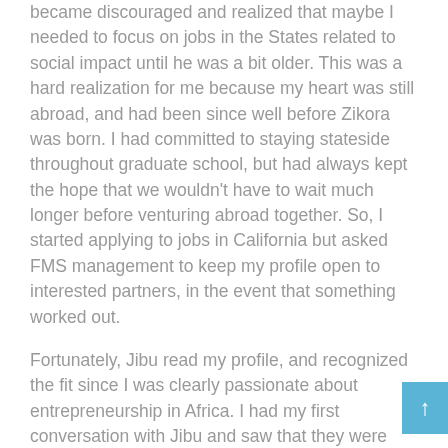became discouraged and realized that maybe I needed to focus on jobs in the States related to social impact until he was a bit older. This was a hard realization for me because my heart was still abroad, and had been since well before Zikora was born. I had committed to staying stateside throughout graduate school, but had always kept the hope that we wouldn't have to wait much longer before venturing abroad together. So, I started applying to jobs in California but asked FMS management to keep my profile open to interested partners, in the event that something worked out.
Fortunately, Jibu read my profile, and recognized the fit since I was clearly passionate about entrepreneurship in Africa. I had my first conversation with Jibu and saw that they were looking for someone to concentrate on precisely what I wanted to do and be part of – impact measurement within a company and entrepreneurship and business skills training. As I talked more about what I wanted to achieve in my career, my interviewers recognized that their needs aligned with that skillset and passion.